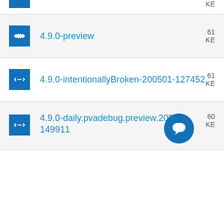4.9.0-preview
4.9.0-intentionallyBroken-200501-127452
4.9.0-daily.pvadebug.preview.20077... 149911